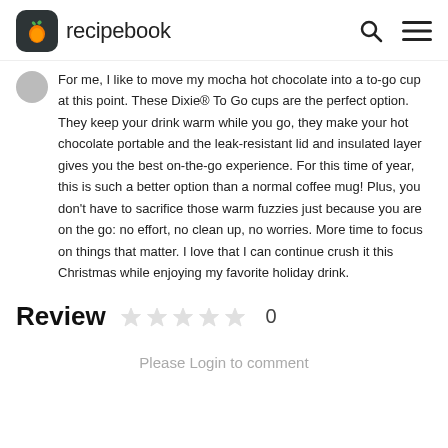recipebook
For me, I like to move my mocha hot chocolate into a to-go cup at this point. These Dixie® To Go cups are the perfect option. They keep your drink warm while you go, they make your hot chocolate portable and the leak-resistant lid and insulated layer gives you the best on-the-go experience. For this time of year, this is such a better option than a normal coffee mug! Plus, you don't have to sacrifice those warm fuzzies just because you are on the go: no effort, no clean up, no worries. More time to focus on things that matter. I love that I can continue crush it this Christmas while enjoying my favorite holiday drink.
Review 0
Please Login to comment